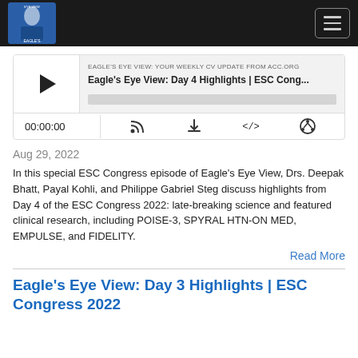Eagle's Eye View: Your Weekly CV Update From ACC.org — navigation bar with logo and hamburger menu
[Figure (screenshot): Podcast player widget showing play button, episode title 'Eagle's Eye View: Day 4 Highlights | ESC Cong...', podcast name 'Eagle's Eye View: Your Weekly CV Update From ACC.org', time display 00:00:00, and control icons (RSS, download, embed, share)]
Aug 29, 2022
In this special ESC Congress episode of Eagle's Eye View, Drs. Deepak Bhatt, Payal Kohli, and Philippe Gabriel Steg discuss highlights from Day 4 of the ESC Congress 2022: late-breaking science and featured clinical research, including POISE-3, SPYRAL HTN-ON MED, EMPULSE, and FIDELITY.
Read More
Eagle's Eye View: Day 3 Highlights | ESC Congress 2022